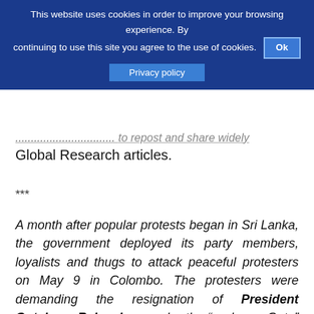This website uses cookies in order to improve your browsing experience. By continuing to use this site you agree to the use of cookies. Ok
Privacy policy
............................... [truncated] to repost and share widely Global Research articles.
***
A month after popular protests began in Sri Lanka, the government deployed its party members, loyalists and thugs to attack peaceful protesters on May 9 in Colombo. The protesters were demanding the resignation of President Gotabaya Rajapaksa, under the “go home Gota” slogan, and the removal of the corrupt ruling family regime that